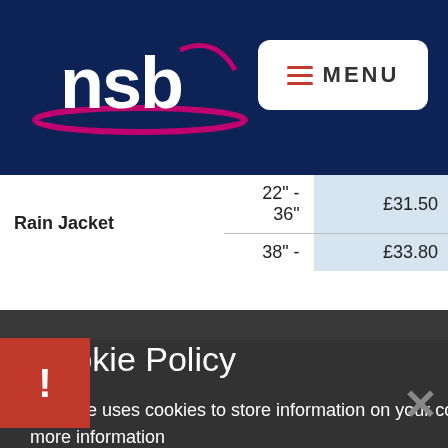[Figure (logo): NSB logo — white 'nsb' text with swoosh underline in red/pink on dark navy background]
MENU
|  | Size | Price |
| --- | --- | --- |
| Rain Jacket | 22" - 36" | £31.50 |
|  | 38" - | £33.80 |
Cookie Policy
This site uses cookies to store information on your computer. Click here for more information
Allow Cookies
Deny Cookies